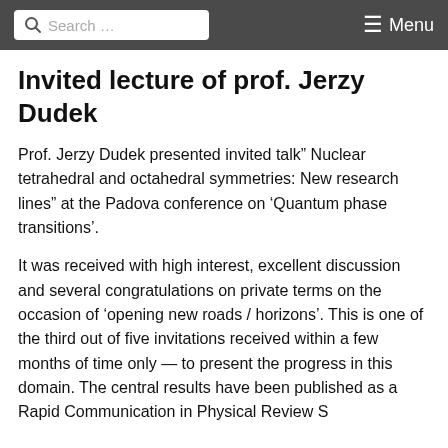Search ... Menu
Invited lecture of prof. Jerzy Dudek
Prof. Jerzy Dudek presented invited talk” Nuclear tetrahedral and octahedral symmetries: New research lines” at the Padova conference on ‘Quantum phase transitions’.
It was received with high interest, excellent discussion and several congratulations on private terms on the occasion of ‘opening new roads / horizons’. This is one of the third out of five invitations received within a few months of time only — to present the progress in this domain. The central results have been published as a Rapid Communication in Physical Review S...